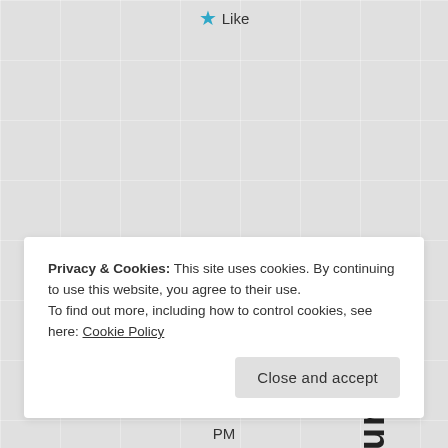[Figure (screenshot): Star/Like button UI element with teal star icon and 'Like' text]
Future Danger
11/11
Privacy & Cookies: This site uses cookies. By continuing to use this website, you agree to their use.
To find out more, including how to control cookies, see here: Cookie Policy
Close and accept
PM